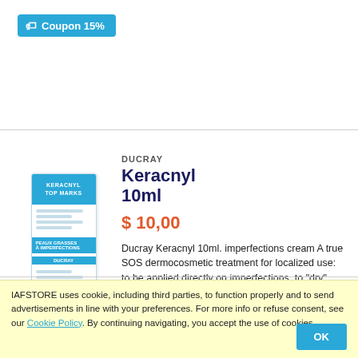[Figure (other): Blue coupon badge with tag icon reading 'Coupon 15%']
[Figure (photo): Ducray Keracnyl 10ml product box image]
DUCRAY
Keracnyl 10ml
$ 10,00
Ducray Keracnyl 10ml. imperfections cream A true SOS dermocosmetic treatment for localized use: to be applied directly on imperfections, to "dry" them and facilitate their disappearance.
[Figure (other): Blue coupon badge with tag icon reading 'Coupon 15%']
Available!
DUCRAY
Keracnyl Repair
IAFSTORE uses cookie, including third parties, to function properly and to send advertisements in line with your preferences. For more info or refuse consent, see our Cookie Policy. By continuing navigating, you accept the use of cookies
OK